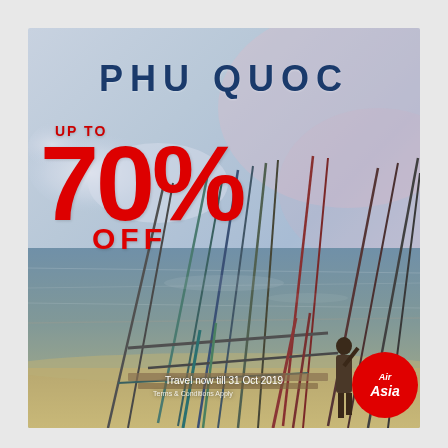[Figure (photo): AirAsia advertisement for Phu Quoc destination. Background shows a scenic beach photo with colorful bamboo poles/fishing structure in water at dusk, a woman standing among the poles on the right side. Sky has soft clouds and gradients of blue and pink.]
PHU QUOC
UP TO
70% OFF
Travel now till 31 Oct 2019
Terms & Conditions Apply
[Figure (logo): AirAsia red circle logo with white italic text 'Air Asia']